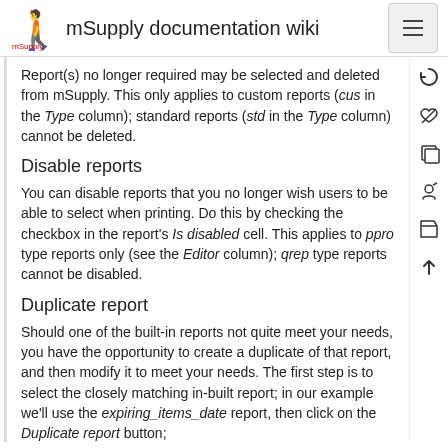mSupply documentation wiki
Report(s) no longer required may be selected and deleted from mSupply. This only applies to custom reports (cus in the Type column); standard reports (std in the Type column) cannot be deleted.
Disable reports
You can disable reports that you no longer wish users to be able to select when printing. Do this by checking the checkbox in the report's Is disabled cell. This applies to ppro type reports only (see the Editor column); qrep type reports cannot be disabled.
Duplicate report
Should one of the built-in reports not quite meet your needs, you have the opportunity to create a duplicate of that report, and then modify it to meet your needs. The first step is to select the closely matching in-built report; in our example we'll use the expiring_items_date report, then click on the Duplicate report button;
the window that appears has already selected a name for your report, using the name of the in-built report prefixed by “my_ ”; you may change this name should you wish. The Permissions drop down list allows you to specify users having access to your report; the